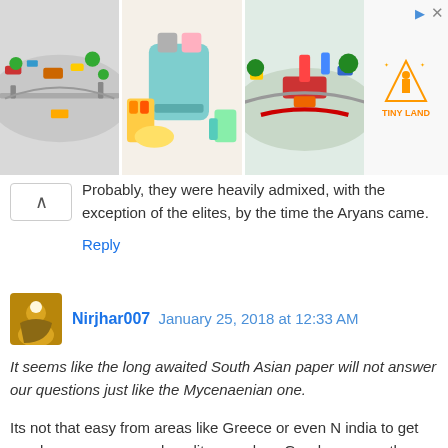[Figure (screenshot): Advertisement banner showing toy train sets and kitchen toys with Tiny Land logo]
Probably, they were heavily admixed, with the exception of the elites, by the time the Aryans came.
Reply
Nirjhar007  January 25, 2018 at 12:33 AM
It seems like the long awaited South Asian paper will not answer our questions just like the Mycenaenian one.
Its not that easy from areas like Greece or even N india to get good coverage or good quality samples , Greek one was the most important paper last Year IMO , it is also interesting that the Mycenaean male belonged to J2 .
Now lots of baseless allegations are made here which makes me laugh, but what is interesting and very probable